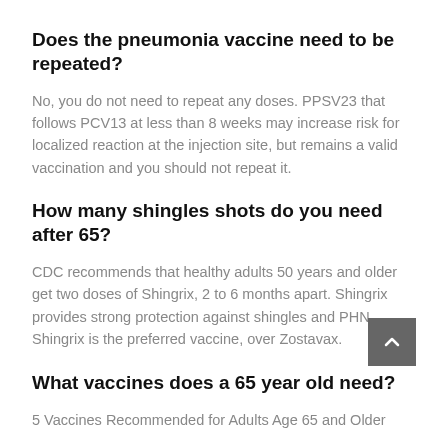Does the pneumonia vaccine need to be repeated?
No, you do not need to repeat any doses. PPSV23 that follows PCV13 at less than 8 weeks may increase risk for localized reaction at the injection site, but remains a valid vaccination and you should not repeat it.
How many shingles shots do you need after 65?
CDC recommends that healthy adults 50 years and older get two doses of Shingrix, 2 to 6 months apart. Shingrix provides strong protection against shingles and PHN. Shingrix is the preferred vaccine, over Zostavax.
What vaccines does a 65 year old need?
5 Vaccines Recommended for Adults Age 65 and Older